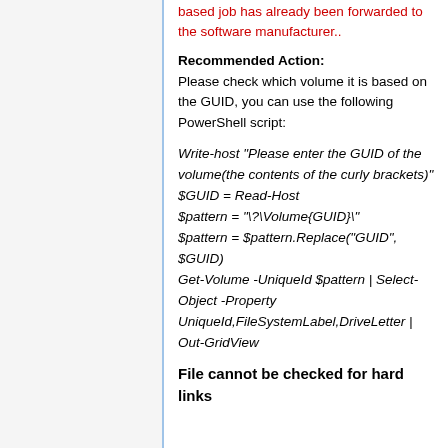based job has already been forwarded to the software manufacturer..
Recommended Action:
Please check which volume it is based on the GUID, you can use the following PowerShell script:
Write-host "Please enter the GUID of the volume(the contents of the curly brackets)"
$GUID = Read-Host
$pattern = "\?\Volume{GUID}\"
$pattern = $pattern.Replace("GUID", $GUID)
Get-Volume -UniqueId $pattern | Select-Object -Property UniqueId,FileSystemLabel,DriveLetter | Out-GridView
File cannot be checked for hard links